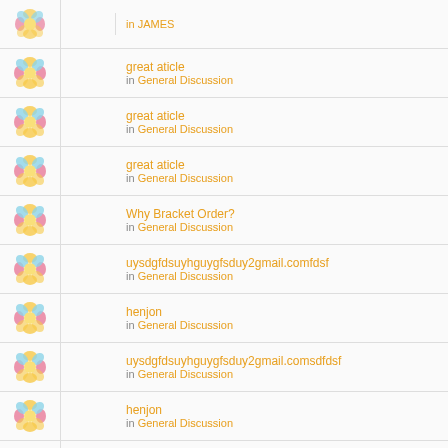in JAMES
great aticle
in General Discussion
great aticle
in General Discussion
great aticle
in General Discussion
Why Bracket Order?
in General Discussion
uysdgfdsuyhguygfsduy2gmail.comfdsf
in General Discussion
henjon
in General Discussion
uysdgfdsuyhguygfsduy2gmail.comsdfdsf
in General Discussion
henjon
in General Discussion
great aticle
in General Discussion